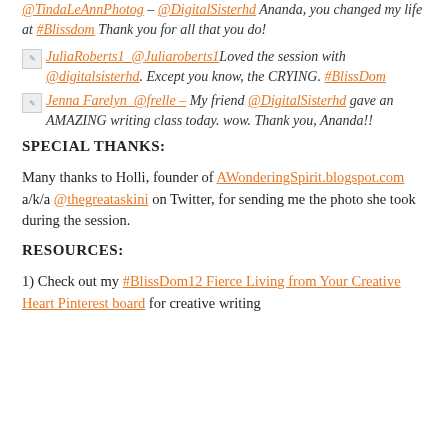@TindaLeAnnPhotog – @DigitalSisterhd Ananda, you changed my life at #Blissdom Thank you for all that you do!
JuliaRoberts1 @Juliaroberts1 Loved the session with @digitalsisterhd. Except you know, the CRYING. #BlissDom
Jenna Farelyn @frelle – My friend @DigitalSisterhd gave an AMAZING writing class today. wow. Thank you, Ananda!!
SPECIAL THANKS:
Many thanks to Holli, founder of AWonderingSpirit.blogspot.com a/k/a @thegreataskini on Twitter, for sending me the photo she took during the session.
RESOURCES:
1) Check out my #BlissDom12 Fierce Living from Your Creative Heart Pinterest board for creative writing...